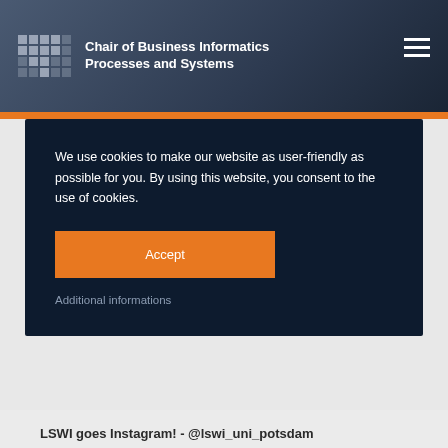Chair of Business Informatics Processes and Systems
We use cookies to make our website as user-friendly as possible for you. By using this website, you consent to the use of cookies.
Accept
Additional informations
LSWI goes Instagram! - @lswi_uni_potsdam
In Instagram öffnen